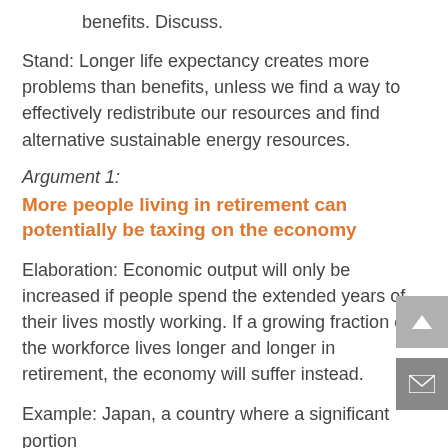benefits. Discuss.
Stand: Longer life expectancy creates more problems than benefits, unless we find a way to effectively redistribute our resources and find alternative sustainable energy resources.
Argument 1:
More people living in retirement can potentially be taxing on the economy
Elaboration: Economic output will only be increased if people spend the extended years of their lives mostly working. If a growing fraction of the workforce lives longer and longer in retirement, the economy will suffer instead.
Example: Japan, a country where a significant portion